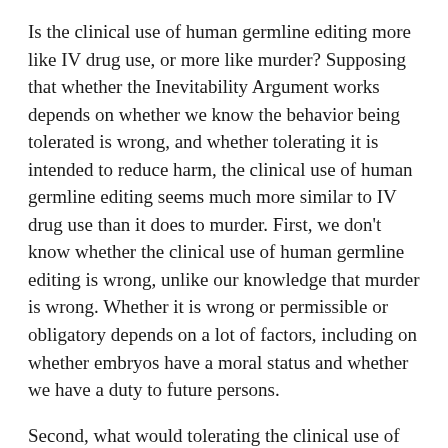Is the clinical use of human germline editing more like IV drug use, or more like murder? Supposing that whether the Inevitability Argument works depends on whether we know the behavior being tolerated is wrong, and whether tolerating it is intended to reduce harm, the clinical use of human germline editing seems much more similar to IV drug use than it does to murder. First, we don't know whether the clinical use of human germline editing is wrong, unlike our knowledge that murder is wrong. Whether it is wrong or permissible or obligatory depends on a lot of factors, including on whether embryos have a moral status and whether we have a duty to future persons.
Second, what would tolerating the clinical use of human germline editing look like? It would require scientific and political oversight of methods, data, and follow-up clinical care. But more importantly, the